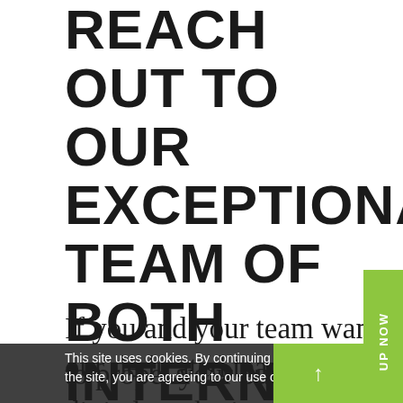REACH OUT TO OUR EXCEPTIONAL TEAM OF BOTH INTERNET MARKETING AND WEBSITE DESIGN PROFESSIONALS TODAY. | BOOM TRUCK RENTAL NEAR ME
If you and your team want to propel your business in a new direction, but have no idea where to start, then use the contact information shown below to connect with our dedicated team of digital marketing experts today. We would be happy to discuss your goals for
This site uses cookies. By continuing to browse the site, you are agreeing to our use of cookies.